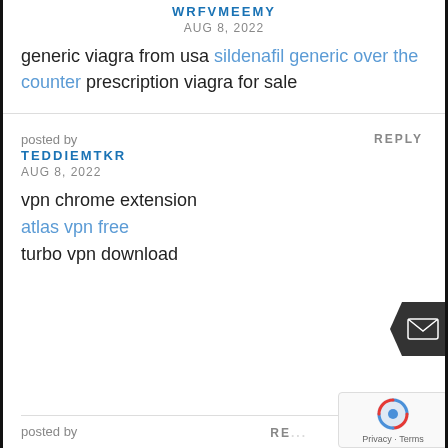WRFVMEEMY
AUG 8, 2022
generic viagra from usa sildenafil generic over the counter prescription viagra for sale
posted by
TEDDIEMTKR
AUG 8, 2022
REPLY
vpn chrome extension
atlas vpn free
turbo vpn download
posted by
RE...
[Figure (other): Dark arrow-shaped mail button with envelope icon]
[Figure (other): reCAPTCHA widget with Privacy - Terms text]